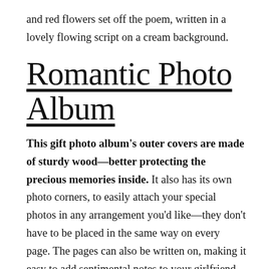and red flowers set off the poem, written in a lovely flowing script on a cream background.
Romantic Photo Album
This gift photo album's outer covers are made of sturdy wood—better protecting the precious memories inside. It also has its own photo corners, to easily attach your special photos in any arrangement you'd like—they don't have to be placed in the same way on every page. The pages can also be written on, making it easy to add sentimental notes to your girlfriend on every page.